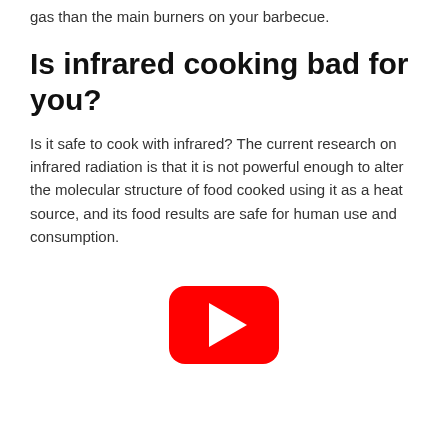gas than the main burners on your barbecue.
Is infrared cooking bad for you?
Is it safe to cook with infrared? The current research on infrared radiation is that it is not powerful enough to alter the molecular structure of food cooked using it as a heat source, and its food results are safe for human use and consumption.
[Figure (other): YouTube play button icon (red rounded rectangle with white triangle play arrow)]